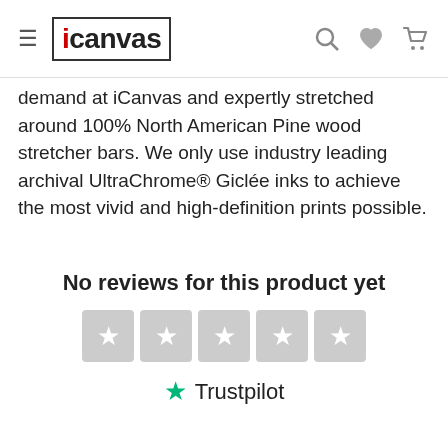iCanvas
demand at iCanvas and expertly stretched around 100% North American Pine wood stretcher bars. We only use industry leading archival UltraChrome® Giclée inks to achieve the most vivid and high-definition prints possible.
No reviews for this product yet
[Figure (other): Five empty grey star rating boxes followed by Trustpilot logo with green star and Trustpilot text]